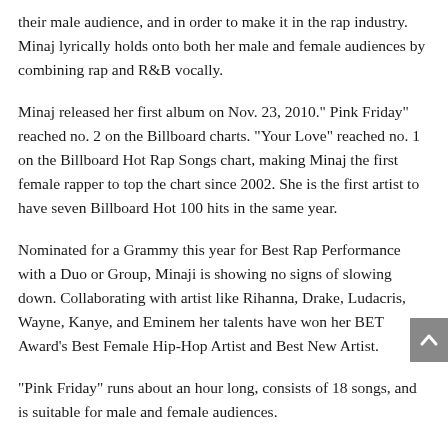their male audience, and in order to make it in the rap industry. Minaj lyrically holds onto both her male and female audiences by combining rap and R&B vocally.
Minaj released her first album on Nov. 23, 2010.” Pink Friday” reached no. 2 on the Billboard charts. “Your Love” reached no. 1 on the Billboard Hot Rap Songs chart, making Minaj the first female rapper to top the chart since 2002. She is the first artist to have seven Billboard Hot 100 hits in the same year.
Nominated for a Grammy this year for Best Rap Performance with a Duo or Group, Minaji is showing no signs of slowing down. Collaborating with artist like Rihanna, Drake, Ludacris, Wayne, Kanye, and Eminem her talents have won her BET Award’s Best Female Hip-Hop Artist and Best New Artist.
“Pink Friday” runs about an hour long, consists of 18 songs, and is suitable for male and female audiences.